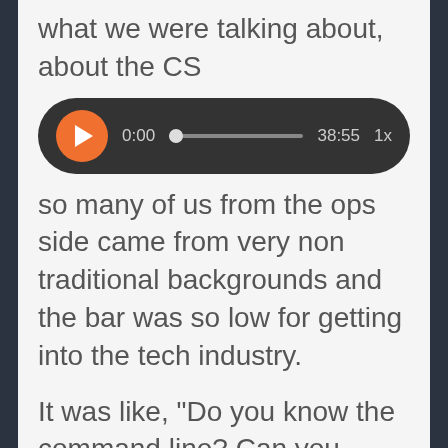what we were talking about, about the CS
[Figure (screenshot): Audio player widget with orange play button, showing time 0:00 and total duration 38:55, with 1x speed indicator]
so many of us from the ops side came from very non traditional backgrounds and the bar was so low for getting into the tech industry.
It was like, "Do you know the command line? Can you name these two flags to graph? All right. Here you go, cowboy. Saddle up." And they just toss you into the deep end. Now there's been this whole professionalization and training people into engineers. On the one hand I understand why and I support it, and on the other hand, it's like how do we get